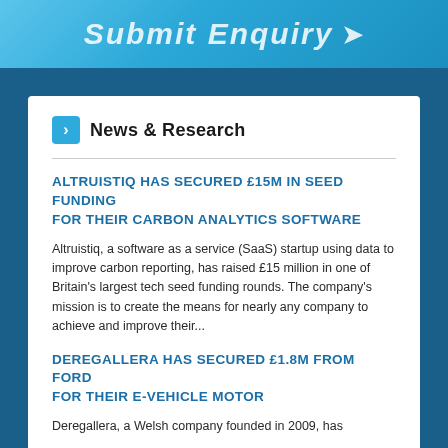Submit Enquiry →
News & Research
ALTRUISTIQ HAS SECURED £15M IN SEED FUNDING FOR THEIR CARBON ANALYTICS SOFTWARE
Altruistiq, a software as a service (SaaS) startup using data to improve carbon reporting, has raised £15 million in one of Britain's largest tech seed funding rounds. The company's mission is to create the means for nearly any company to achieve and improve their...
DEREGALLERA HAS SECURED £1.8M FROM FORD FOR THEIR E-VEHICLE MOTOR
Deregallera, a Welsh company founded in 2009, has